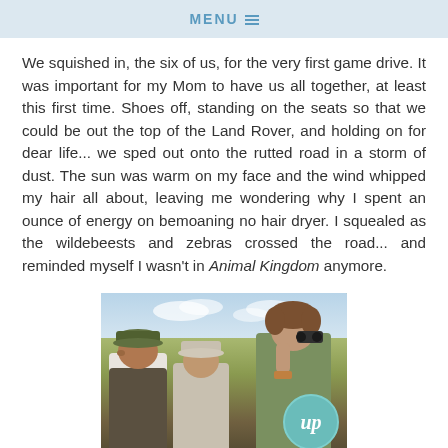MENU
We squished in, the six of us, for the very first game drive. It was important for my Mom to have us all together, at least this first time. Shoes off, standing on the seats so that we could be out the top of the Land Rover, and holding on for dear life... we sped out onto the rutted road in a storm of dust. The sun was warm on my face and the wind whipped my hair all about, leaving me wondering why I spent an ounce of energy on bemoaning no hair dryer. I squealed as the wildebeests and zebras crossed the road... and reminded myself I wasn't in Animal Kingdom anymore.
[Figure (photo): Three people standing outdoors on a safari game drive, looking out over a dry savanna landscape under a partly cloudy sky. Two men wearing baseball caps are in the foreground, and a woman on the right is looking through binoculars. A circular logo with stylized text 'up' appears in the bottom right corner of the photo.]